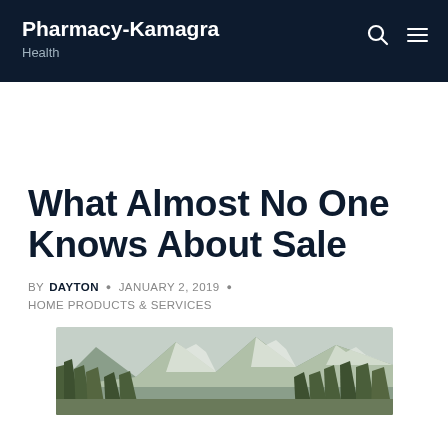Pharmacy-Kamagra | Health
What Almost No One Knows About Sale
BY DAYTON · JANUARY 2, 2019 · HOME PRODUCTS & SERVICES
[Figure (photo): Mountain landscape with trees and snow-capped peaks in the background]